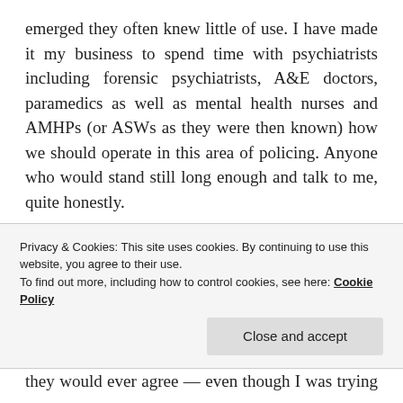emerged they often knew little of use. I have made it my business to spend time with psychiatrists including forensic psychiatrists, A&E doctors, paramedics as well as mental health nurses and AMHPs (or ASWs as they were then known) how we should operate in this area of policing. Anyone who would stand still long enough and talk to me, quite honestly.

I eventually found out that there are no simple answers and no-one was particularly working on policing and mental health. I had triangulate a
Privacy & Cookies: This site uses cookies. By continuing to use this website, you agree to their use.
To find out more, including how to control cookies, see here: Cookie Policy
they would ever agree — even though I was trying my